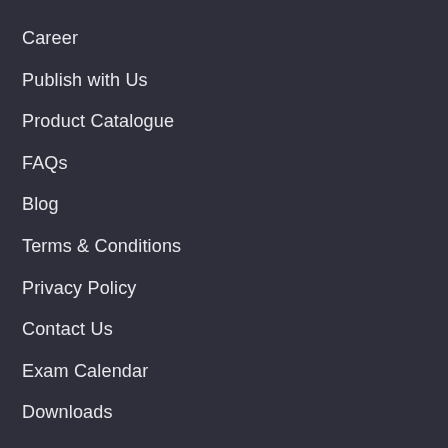Career
Publish with Us
Product Catalogue
FAQs
Blog
Terms & Conditions
Privacy Policy
Contact Us
Exam Calendar
Downloads
Products
Books